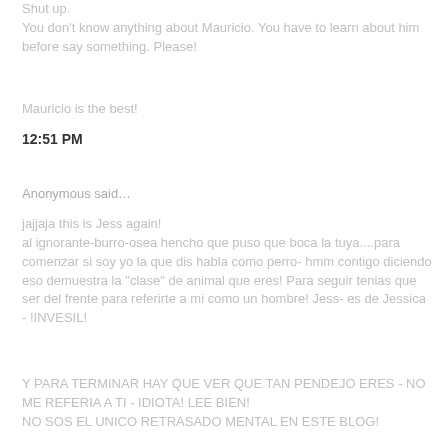Shut up.
You don't know anything about Mauricio. You have to learn about him before say something. Please!
Mauricio is the best!
12:51 PM
Anonymous said…
jajjaja this is Jess again!
al ignorante-burro-osea hencho que puso que boca la tuya....para comenzar si soy yo la que dis habla como perro- hmm contigo diciendo eso demuestra la "clase" de animal que eres! Para seguir tenias que ser del frente para referirte a mi como un hombre! Jess- es de Jessica - !INVESIL!
Y PARA TERMINAR HAY QUE VER QUE TAN PENDEJO ERES - NO ME REFERIA A TI - IDIOTA! LEE BIEN!
NO SOS EL UNICO RETRASADO MENTAL EN ESTE BLOG!